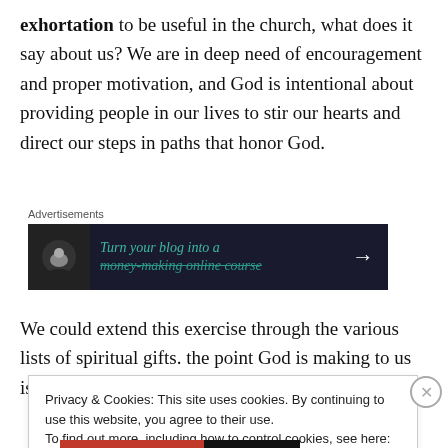exhortation to be useful in the church, what does it say about us? We are in deep need of encouragement and proper motivation, and God is intentional about providing people in our lives to stir our hearts and direct our steps in paths that honor God.
Advertisements
[Figure (other): Advertisement banner: dark background with icon, text 'Turn your blog into a money-making online course' in teal, and a right arrow]
We could extend this exercise through the various lists of spiritual gifts. the point God is making to us is this:
Privacy & Cookies: This site uses cookies. By continuing to use this website, you agree to their use.
To find out more, including how to control cookies, see here: Cookie Policy
Close and accept